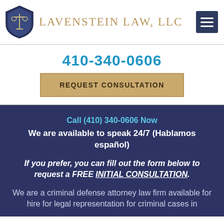[Figure (logo): Lavenstein Law LLC logo: blue shield with scales of justice icon, and firm name in gold serif uppercase text]
LAVENSTEIN LAW, LLC
410-340-0606
REQUEST CONSULTATION
Call (410) 340-0606 Now
We are available to speak 24/7 (Hablamos español)
If you prefer, you can fill out the form below to request a FREE INITIAL CONSULTATION.
We are a criminal defense attorney law firm available for hire for legal representation for criminal cases in